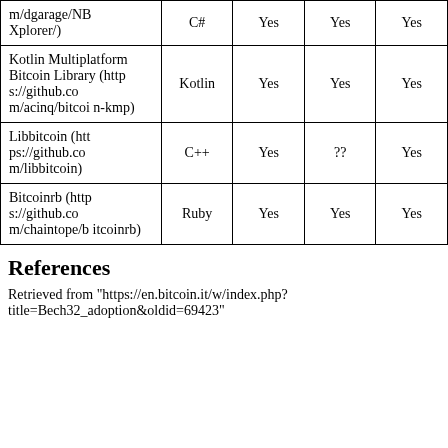| Library | Language |  |  |  |
| --- | --- | --- | --- | --- |
| m/dgarage/NBXplorer/) | C# | Yes | Yes | Yes |
| Kotlin Multiplatform Bitcoin Library (https://github.com/acinq/bitcoin-kmp) | Kotlin | Yes | Yes | Yes |
| Libbitcoin (https://github.com/libbitcoin) | C++ | Yes | ?? | Yes |
| Bitcoinrb (https://github.com/chaintope/bitcoinrb) | Ruby | Yes | Yes | Yes |
References
Retrieved from "https://en.bitcoin.it/w/index.php?title=Bech32_adoption&oldid=69423"